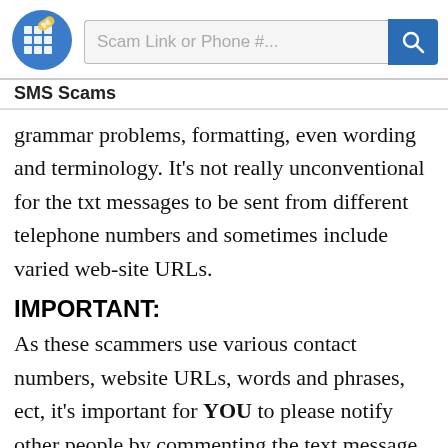[Figure (logo): SMS Scams logo: blue circle with grid/phone icon and band-aid symbol]
SMS Scams | Scam Link or Phone #... [search button]
grammar problems, formatting, even wording and terminology. It's not really unconventional for the txt messages to be sent from different telephone numbers and sometimes include varied web-site URLs.
IMPORTANT:
As these scammers use various contact numbers, website URLs, words and phrases, ect, it's important for YOU to please notify other people by commenting the text message you were sent